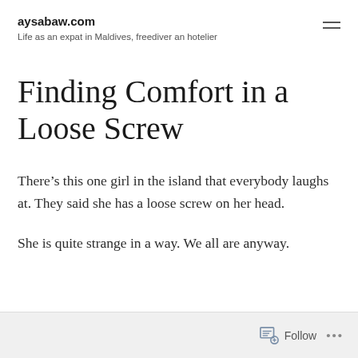aysabaw.com
Life as an expat in Maldives, freediver an hotelier
Finding Comfort in a Loose Screw
There’s this one girl in the island that everybody laughs at. They said she has a loose screw on her head.
She is quite strange in a way. We all are anyway.
Follow ...